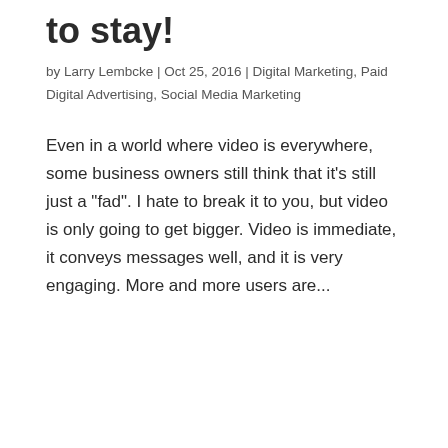to stay!
by Larry Lembcke | Oct 25, 2016 | Digital Marketing, Paid Digital Advertising, Social Media Marketing
Even in a world where video is everywhere, some business owners still think that it’s still just a “fad”. I hate to break it to you, but video is only going to get bigger. Video is immediate, it conveys messages well, and it is very engaging. More and more users are...